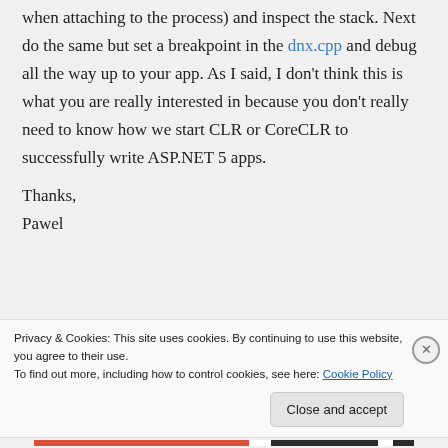when attaching to the process) and inspect the stack. Next do the same but set a breakpoint in the dnx.cpp and debug all the way up to your app. As I said, I don't think this is what you are really interested in because you don't really need to know how we start CLR or CoreCLR to successfully write ASP.NET 5 apps.
Thanks,
Pawel
Privacy & Cookies: This site uses cookies. By continuing to use this website, you agree to their use.
To find out more, including how to control cookies, see here: Cookie Policy